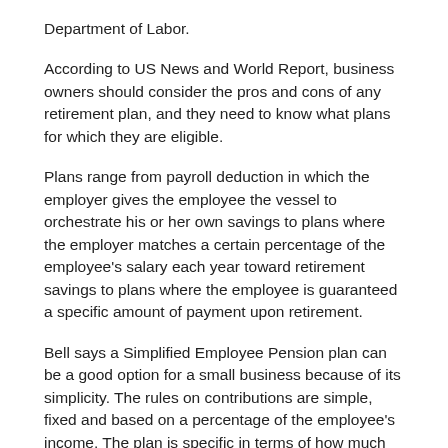Department of Labor.
According to US News and World Report, business owners should consider the pros and cons of any retirement plan, and they need to know what plans for which they are eligible.
Plans range from payroll deduction in which the employer gives the employee the vessel to orchestrate his or her own savings to plans where the employer matches a certain percentage of the employee's salary each year toward retirement savings to plans where the employee is guaranteed a specific amount of payment upon retirement.
Bell says a Simplified Employee Pension plan can be a good option for a small business because of its simplicity. The rules on contributions are simple, fixed and based on a percentage of the employee's income. The plan is specific in terms of how much the employer is required to contribute.
SEPs are attractive to small business owners because they have low start-up and operating costs. Generally, the employer must make a uniform percentage contribution for each employee, but contributions are not required every year. This allows business